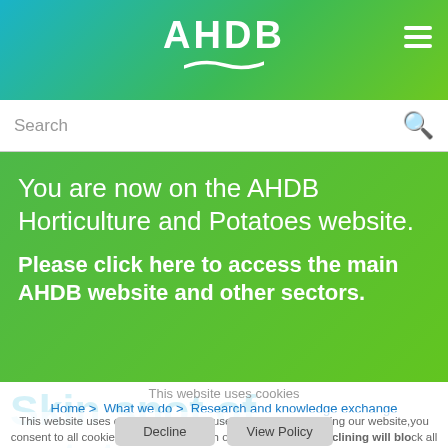[Figure (logo): AHDB logo with wave underline on gradient background, hamburger menu icon top right]
Search
You are now on the AHDB Horticulture and Potatoes website. Please click here to access the main AHDB website and other sectors.
This website uses cookies
Home > What we do > Research and knowledge exchange
This website uses cookies to improve user experience. By using our website you consent to all cookies in accordance with our Cookie Policy. Declining will block all first party cookies other than functional, anonymous, strictly necessary cookies
Skin spot of potatoes: diagnostics and